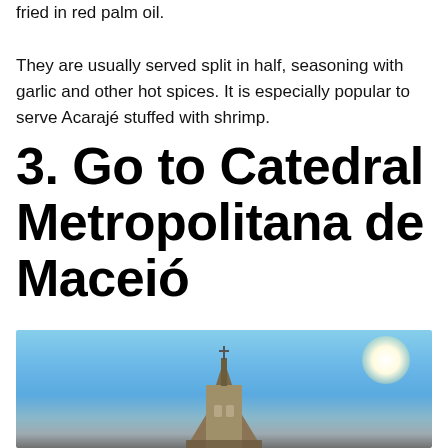fried in red palm oil. They are usually served split in half, seasoning with garlic and other hot spices. It is especially popular to serve Acarajé stuffed with shrimp.
3. Go to Catedral Metropolitana de Maceió
[Figure (photo): Photo of Catedral Metropolitana de Maceió showing rooftop/spire against a bright blue sky with sun glare]